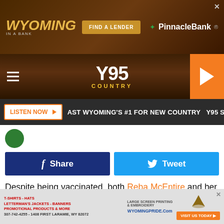[Figure (screenshot): Wyoming Pinnacle Bank advertisement banner at top of page]
[Figure (logo): Y95 Country radio station logo with hamburger menu and play button]
LISTEN NOW ▶  AST WYOMING'S #1 FOR NEW COUNTRY  Y95 SOL
Despite being vaccinated, both Reba McEntire and her boyfriend, Rex Linn, contracted COVID-19, the country star recently shared.
"It's not fun to get this ... You don't feel good," McEntire said during a livestream on TikTok, during which the singer chatted with fans from her "birdyard" (i.e., her home's
[Figure (screenshot): Wyoming Pride promotional advertisement at bottom of page]